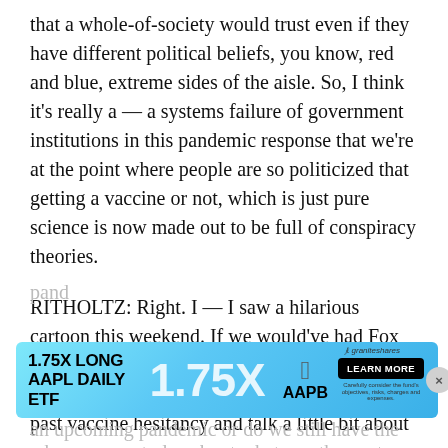that a whole-of-society would trust even if they have different political beliefs, you know, red and blue, extreme sides of the aisle. So, I think it's really a — a systems failure of government institutions in this pandemic response that we're at the point where people are so politicized that getting a vaccine or not, which is just pure science is now made out to be full of conspiracy theories.
RITHOLTZ: Right. I — I saw a hilarious cartoon this weekend. If we would've had Fox News in the 50's, we'd still be fighting polio, which is kind of — kind of amusing. Let's move past vaccine hesitancy and talk a little bit about where we are today about whatever the next pandemic or do we still have the...
[Figure (infographic): Advertisement banner for '1.75X LONG AAPL DAILY ETF' with ticker AAPB, showing 1.75X in large text, Apple logo, GraniteShares branding, and a Learn More button. Cyan/blue gradient background.]